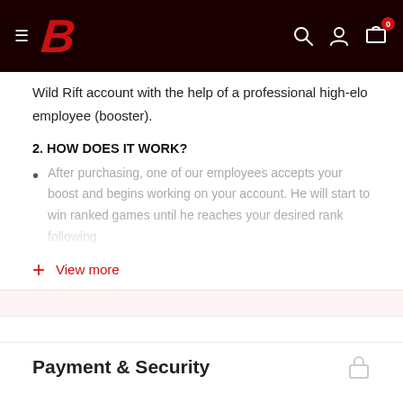B [logo] — navigation header with search, account, and cart icons
Wild Rift account with the help of a professional high-elo employee (booster).
2. HOW DOES IT WORK?
After purchasing, one of our employees accepts your boost and begins working on your account. He will start to win ranked games until he reaches your desired rank following
View more
Payment & Security